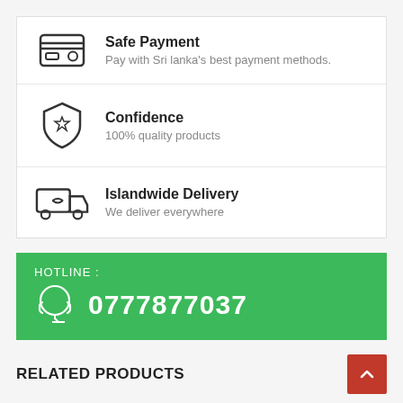[Figure (infographic): Safe Payment icon - credit card outline]
Safe Payment
Pay with Sri lanka's best payment methods.
[Figure (infographic): Confidence icon - shield with star]
Confidence
100% quality products
[Figure (infographic): Islandwide Delivery icon - delivery truck]
Islandwide Delivery
We deliver everywhere
HOTLINE :
0777877037
RELATED PRODUCTS